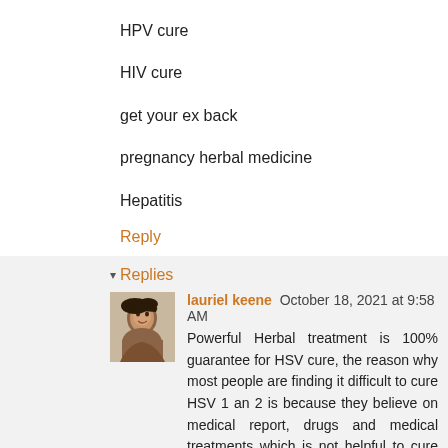HPV cure
HIV cure
get your ex back
pregnancy herbal medicine
Hepatitis
Reply
▾ Replies
lauriel keene October 18, 2021 at 9:58 AM
Powerful Herbal treatment is 100% guarantee for HSV cure, the reason why most people are finding it difficult to cure HSV 1 an 2 is because they believe on medical report, drugs and medical treatments which is not helpful to cure HSV and hasn't proved any sign of helping. Natural roots/herbs are the best remedy which